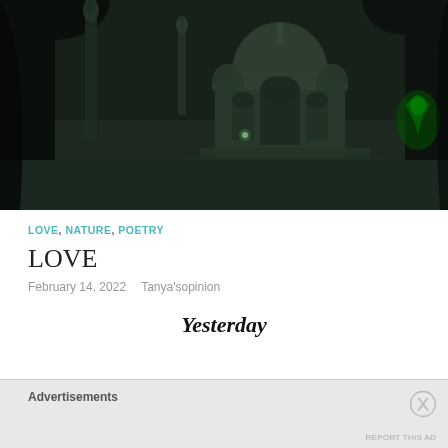[Figure (photo): Nighttime photograph of the Taj Mahal viewed through dark archways, with the illuminated dome visible in the distance against a dark sky]
LOVE, NATURE, POETRY
LOVE
February 14, 2022   Tanya'sopinion
Yesterday
Advertisements